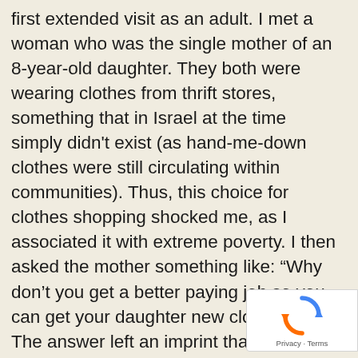first extended visit as an adult. I met a woman who was the single mother of an 8-year-old daughter. They both were wearing clothes from thrift stores, something that in Israel at the time simply didn't exist (as hand-me-down clothes were still circulating within communities). Thus, this choice for clothes shopping shocked me, as I associated it with extreme poverty. I then asked the mother something like: “Why don't you get a better paying job so you can get your daughter new clothing?” The answer left an imprint that resonates to this day: “It is more important for my daughter to have a mother satisfied in her work than to have new clothes.” In my frame
[Figure (logo): reCAPTCHA badge with rotating arrows logo and Privacy · Terms text]